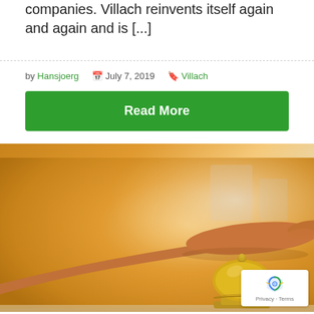companies. Villach reinvents itself again and again and is [...]
by Hansjoerg   July 7, 2019   Villach
Read More
[Figure (photo): A hand hovering over a brass hotel service bell on a reception desk, warm orange/golden tones, blurred background.]